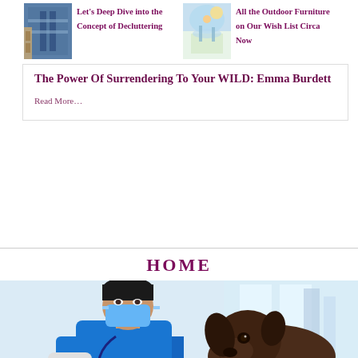[Figure (photo): Thumbnail image of indoor scene related to decluttering]
Let's Deep Dive into the Concept of Decluttering
[Figure (photo): Thumbnail image of person relaxing outdoors related to outdoor furniture]
All the Outdoor Furniture on Our Wish List Circa Now
The Power Of Surrendering To Your WILD: Emma Burdett
Read More…
HOME
[Figure (photo): A veterinarian wearing blue scrubs and a face mask examines a large dark brown dog in a clinical setting]